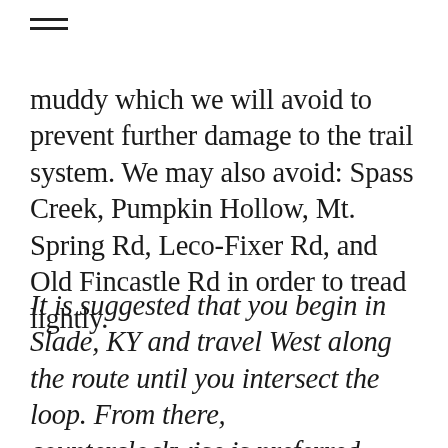≡
muddy which we will avoid to prevent further damage to the trail system. We may also avoid: Spass Creek, Pumpkin Hollow, Mt. Spring Rd, Leco-Fixer Rd, and Old Fincastle Rd in order to tread lightly.
It is suggested that you begin in Slade, KY and travel West along the route until you intersect the loop. From there, counterclockwise is preferred.